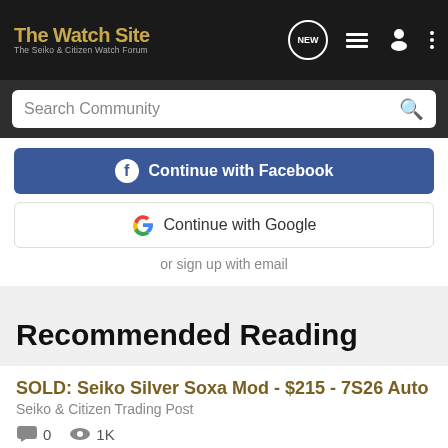The Watch Site — The Seiko & Citizen Watch Forum
Search Community
[Figure (screenshot): Continue with Facebook button (blue)]
[Figure (screenshot): Continue with Google button (white with Google G logo)]
or sign up with email
Recommended Reading
SOLD: Seiko Silver Soxa Mod - $215 - 7S26 Auto
Seiko & Citizen Trading Post
0   1K